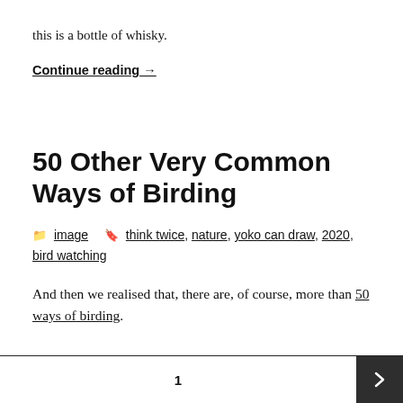this is a bottle of whisky.
Continue reading →
50 Other Very Common Ways of Birding
📁 image 🏷 think twice, nature, yoko can draw, 2020, bird watching
And then we realised that, there are, of course, more than 50 ways of birding.
1